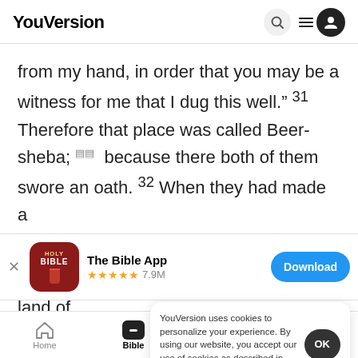YouVersion
from my hand, in order that you may be a witness for me that I dug this well." 31 Therefore that place was called Beer-sheba; [fn] because there both of them swore an oath. 32 When they had made a
[Figure (screenshot): App store banner for The Bible App with HOLY BIBLE icon, 5 stars, 7.9M ratings, and Download button]
land of
tamaris
YouVersion uses cookies to personalize your experience. By using our website, you accept our use of cookies as described in our Privacy Policy.
Home | Bible | Plans | Videos